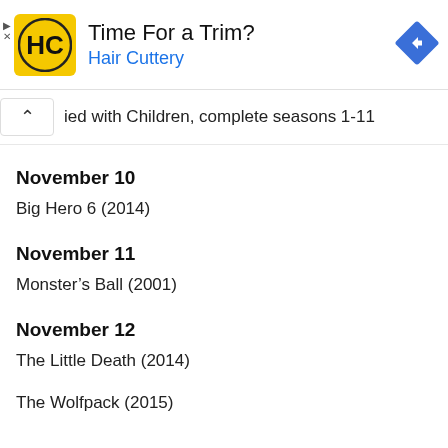[Figure (other): Hair Cuttery advertisement banner with logo, 'Time For a Trim?' headline, 'Hair Cuttery' subtext, and navigation arrow icon]
ied with Children, complete seasons 1-11
November 10
Big Hero 6 (2014)
November 11
Monster’s Ball (2001)
November 12
The Little Death (2014)
The Wolfpack (2015)